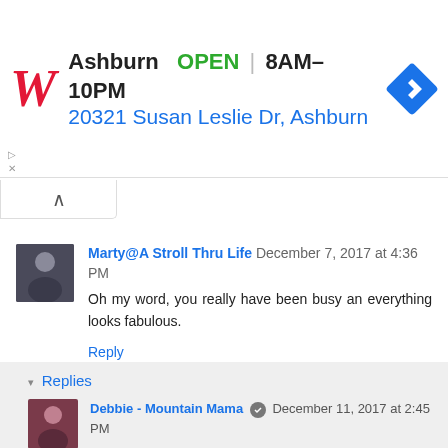[Figure (other): Walgreens advertisement banner showing logo, Ashburn location, OPEN 8AM-10PM hours, address 20321 Susan Leslie Dr, Ashburn, and navigation icon]
Marty@A Stroll Thru Life  December 7, 2017 at 4:36 PM
Oh my word, you really have been busy an everything looks fabulous.
Reply
▾ Replies
Debbie - Mountain Mama  December 11, 2017 at 2:45 PM